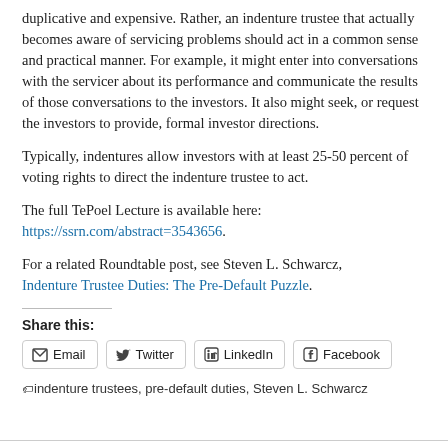duplicative and expensive. Rather, an indenture trustee that actually becomes aware of servicing problems should act in a common sense and practical manner. For example, it might enter into conversations with the servicer about its performance and communicate the results of those conversations to the investors. It also might seek, or request the investors to provide, formal investor directions.
Typically, indentures allow investors with at least 25-50 percent of voting rights to direct the indenture trustee to act.
The full TePoel Lecture is available here: https://ssrn.com/abstract=3543656.
For a related Roundtable post, see Steven L. Schwarcz, Indenture Trustee Duties: The Pre-Default Puzzle.
Share this:
[Figure (other): Share buttons: Email, Twitter, LinkedIn, Facebook]
indenture trustees, pre-default duties, Steven L. Schwarcz